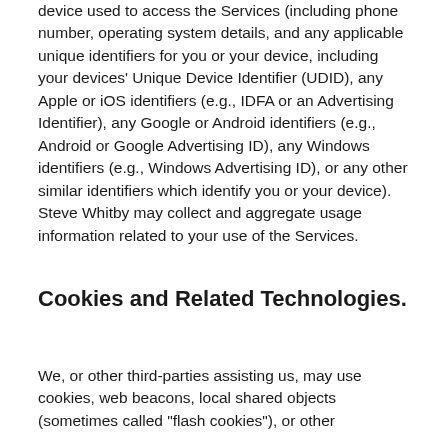device used to access the Services (including phone number, operating system details, and any applicable unique identifiers for you or your device, including your devices' Unique Device Identifier (UDID), any Apple or iOS identifiers (e.g., IDFA or an Advertising Identifier), any Google or Android identifiers (e.g., Android or Google Advertising ID), any Windows identifiers (e.g., Windows Advertising ID), or any other similar identifiers which identify you or your device). Steve Whitby may collect and aggregate usage information related to your use of the Services.
Cookies and Related Technologies.
We, or other third-parties assisting us, may use cookies, web beacons, local shared objects (sometimes called "flash cookies"), or other